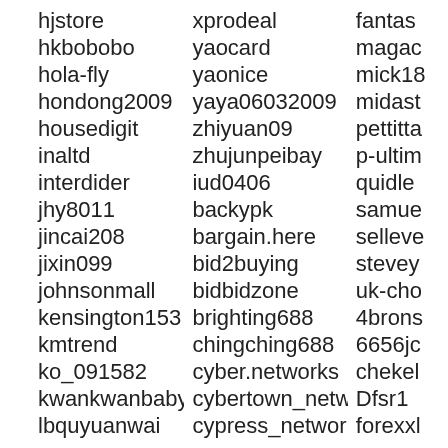hjstore | xprodeal | fantast
hkbobobo | yaocard | magac
hola-fly | yaonice | mick18
hondong2009 | yaya06032009 | midast
housedigit | zhiyuan09 | pettitta
inaltd | zhujunpeibay | p-ultim
interdider | iud0406 | quidle
jhy8011 | backypk | samue
jincai208 | bargain.here | selleve
jixin099 | bid2buying | stevey
johnsonmall | bidbidzone | uk-cho
kensington153 | brighting688 | 4brons
kmtrend | chingching688 | 6656jc
ko_091582 | cyber.networks | chekel
kwankwanbaby | cybertown_network | Dfsr1
lbquyuanwai | cypress_network | forexxl